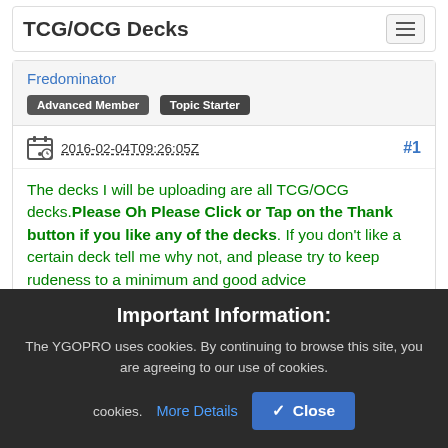TCG/OCG Decks
Fredominator
Advanced Member | Topic Starter
2016-02-04T09:26:05Z  #1
The decks I will be uploading are all TCG/OCG decks. Please Oh Please Click or Tap on the Thank button if you like any of the decks. If you don't like a certain deck tell me why not, and please try to keep rudeness to a minimum and good advice
Important Information:
The YGOPRO uses cookies. By continuing to browse this site, you are agreeing to our use of cookies.
More Details
Close